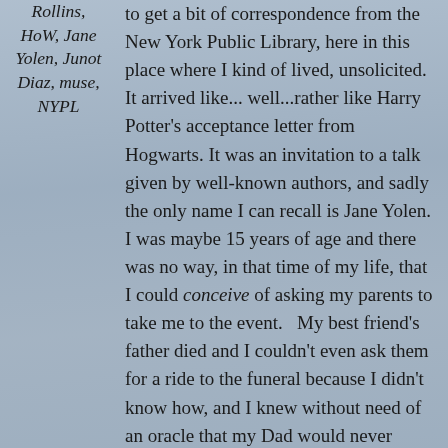Rollins, HoW, Jane Yolen, Junot Diaz, muse, NYPL
to get a bit of correspondence from the New York Public Library, here in this place where I kind of lived, unsolicited. It arrived like... well...rather like Harry Potter's acceptance letter from Hogwarts. It was an invitation to a talk given by well-known authors, and sadly the only name I can recall is Jane Yolen. I was maybe 15 years of age and there was no way, in that time of my life, that I could conceive of asking my parents to take me to the event. My best friend's father died and I couldn't even ask them for a ride to the funeral because I didn't know how, and I knew without need of an oracle that my Dad would never drive